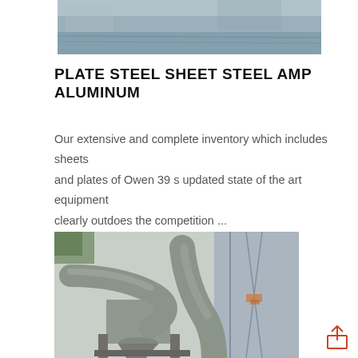[Figure (photo): Partial top view of an industrial waterway or facility scene, showing grayish water and structural elements]
PLATE STEEL SHEET STEEL AMP ALUMINUM
Our extensive and complete inventory which includes sheets and plates of Owen 39 s updated state of the art equipment clearly outdoes the competition ...
[Figure (photo): Industrial facility showing large gray metal ductwork and pipe systems, cyclone separator equipment on structural steel framing, with green trees visible in background]